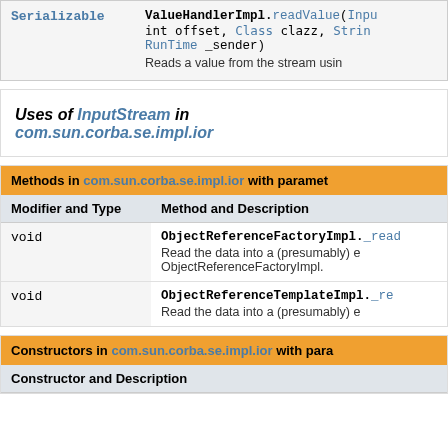| Modifier and Type | Method and Description |
| --- | --- |
| Serializable | ValueHandlerImpl.readValue(Inpu int offset, Class clazz, Strin RunTime _sender)
Reads a value from the stream usin |
Uses of InputStream in com.sun.corba.se.impl.ior
| Methods in com.sun.corba.se.impl.ior with parameters of type InputStream |
| --- |
| Modifier and Type | Method and Description |
| void | ObjectReferenceFactoryImpl._read
Read the data into a (presumably) existing ObjectReferenceFactoryImpl. |
| void | ObjectReferenceTemplateImpl._re
Read the data into a (presumably) e |
| Constructors in com.sun.corba.se.impl.ior with parameters of type InputStream |
| --- |
| Constructor and Description |  |